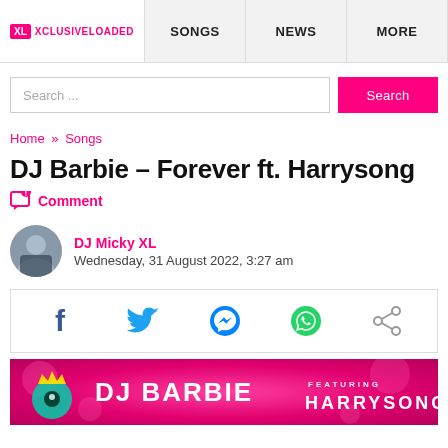XL XCLUSIVELOADED | SONGS | NEWS | MORE
Search ...
Home » Songs
DJ Barbie – Forever ft. Harrysong
Comment
DJ Micky XL
Wednesday, 31 August 2022, 3:27 am
[Figure (infographic): Social share icons: Facebook, Twitter, Messenger, WhatsApp, Share]
[Figure (infographic): Pink promotional banner for DJ Barbie featuring Harrysong]